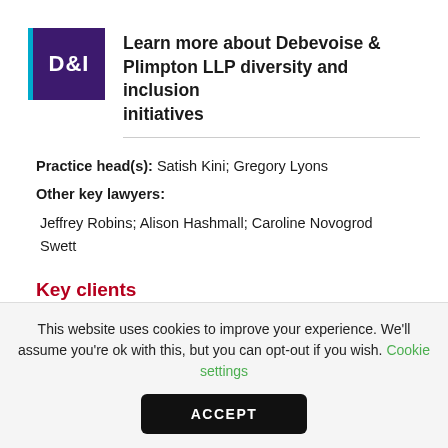[Figure (logo): D&I logo — dark purple square with teal left border, white text 'D&I']
Learn more about Debevoise & Plimpton LLP diversity and inclusion initiatives
Practice head(s): Satish Kini; Gregory Lyons
Other key lawyers:
Jeffrey Robins; Alison Hashmall; Caroline Novogrod Swett
Key clients
This website uses cookies to improve your experience. We'll assume you're ok with this, but you can opt-out if you wish. Cookie settings
ACCEPT